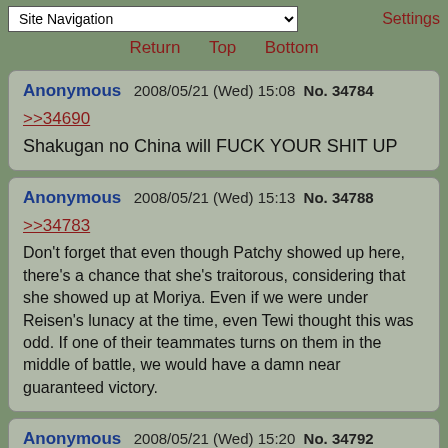Site Navigation | Settings
Return  Top  Bottom
Anonymous 2008/05/21 (Wed) 15:08 No. 34784
>>34690
Shakugan no China will FUCK YOUR SHIT UP
Anonymous 2008/05/21 (Wed) 15:13 No. 34788
>>34783
Don't forget that even though Patchy showed up here, there's a chance that she's traitorous, considering that she showed up at Moriya. Even if we were under Reisen's lunacy at the time, even Tewi thought this was odd. If one of their teammates turns on them in the middle of battle, we would have a damn near guaranteed victory.
Anonymous 2008/05/21 (Wed) 15:20 No. 34792